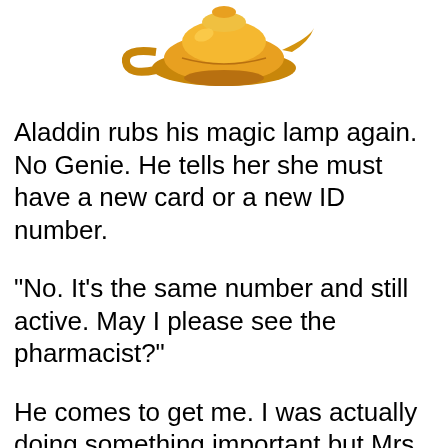[Figure (illustration): Cartoon golden Aladdin magic lamp on a white background, partially cropped at top]
Aladdin rubs his magic lamp again. No Genie. He tells her she must have a new card or a new ID number.
"No. It's the same number and still active. May I please see the pharmacist?"
He comes to get me. I was actually doing something important but Mrs. Advent needs to speak to me, immediately. By all means, let's distract the pharmacist while dealing with